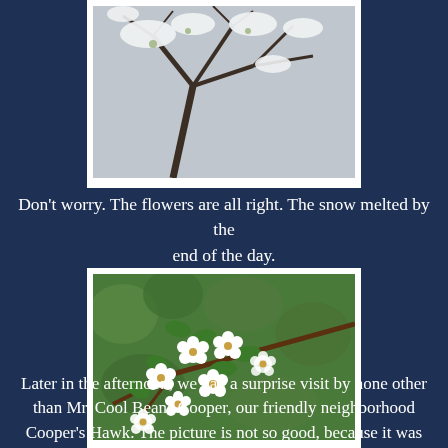[Figure (photo): Snow-covered flowering tree branches with white blossoms and dark twisted branches, viewed from below against a gray sky.]
Don't worry. The flowers are all right. The snow melted by the end of the day.
[Figure (photo): Close-up of white flowers (likely cherry or pear blossoms) with green leaves on a branch, with a soft green background.]
Later in the afternoon, we had a surprise visit by none other than Mr. Cool Beans Cooper, our friendly neighborhood Cooper's Hawk. The picture is not so good, because it was